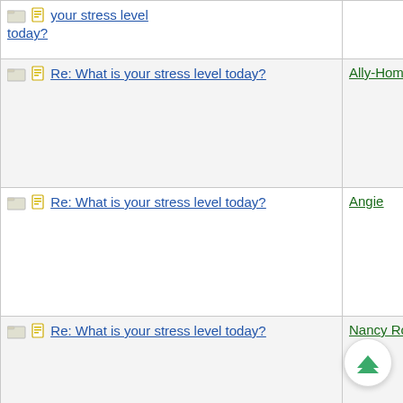| Topic | Author | Date |
| --- | --- | --- |
| Re: What is your stress level today? |  |  |
| Re: What is your stress level today? | Ally-Home/Hols/USA Cook | 08/05/15 12:07 PM |
| Re: What is your stress level today? | Angie | 08/05/15 12:24 PM |
| Re: What is your stress level today? | Nancy Roussy | 08/06/15 12:13 PM |
| Re: What is your stress level today? | Nancy Roussy | 08/07/15 12:39 PM |
| Re: What is your stress level today? | Nancy Roussy | 08/08/15 01:08 PM |
| Re: What is your stress level today? | Nancy Roussy | 08/08/15 05:04 PM |
| Re: What is your stress level today? | Nancy Roussy | 08/09/15 01:25 PM |